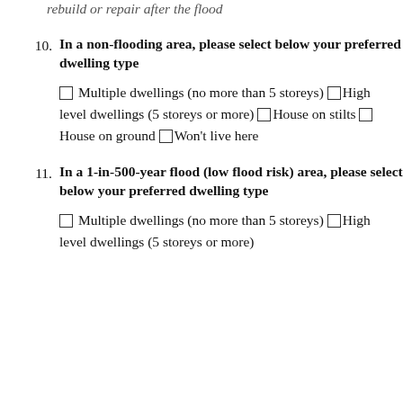rebuild or repair after the flood
10. In a non-flooding area, please select below your preferred dwelling type
☐ Multiple dwellings (no more than 5 storeys) ☐High level dwellings (5 storeys or more) ☐House on stilts ☐House on ground ☐Won't live here
11. In a 1-in-500-year flood (low flood risk) area, please select below your preferred dwelling type
☐ Multiple dwellings (no more than 5 storeys) ☐High level dwellings (5 storeys or more)